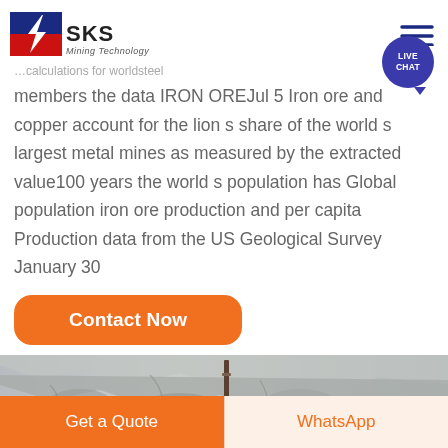SKS Mining Technology
members the data IRON OREJul 5 Iron ore and copper account for the lion s share of the world s largest metal mines as measured by the extracted value100 years the world s population has Global population iron ore production and per capita Production data from the US Geological Survey January 30
Contact Now
[Figure (photo): Photograph of a rocky mine surface or quarry]
Get a Quote   WhatsApp